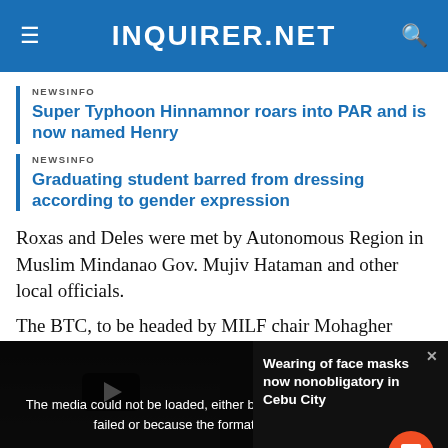INQUIRER.NET
NEWSINFO
Super Typhoon Hinnamnor roars into PAR and is now named Henry
NEWSINFO
Graduating student barred from dressing according to gender expression
Roxas and Deles were met by Autonomous Region in Muslim Mindanao Gov. Mujiv Hataman and other local officials.
The BTC, to be headed by MILF chair Mohagher
[Figure (screenshot): Video player overlay showing media error message: 'The media could not be loaded, either because the server or network failed or because the format is not supported.' Left side shows a video thumbnail with text 'WEARING OF FACE MASKS NOW NONOBLIGATORY IN CEBU CITY'. Right side shows title 'Wearing of face masks now nonobligatory in Cebu City'. An orange chat button is visible at bottom right. A close X button is at the bottom center.]